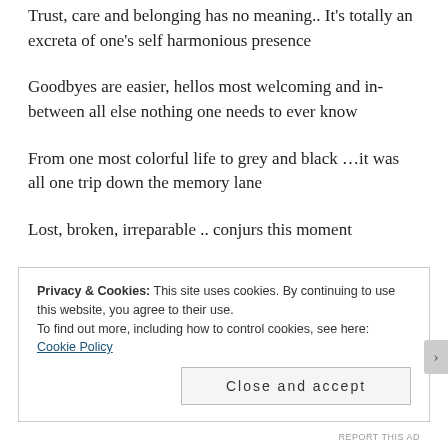Trust, care and belonging has no meaning.. It's totally an excreta of one's self harmonious presence
Goodbyes are easier, hellos most welcoming and in-between all else nothing one needs to ever know
From one most colorful life to grey and black …it was all one trip down the memory lane
Lost, broken, irreparable .. conjurs this moment
In the end – not for all, no-one, this world,  Time shapes
Privacy & Cookies: This site uses cookies. By continuing to use this website, you agree to their use.
To find out more, including how to control cookies, see here: Cookie Policy
Close and accept
REPORT THIS AD